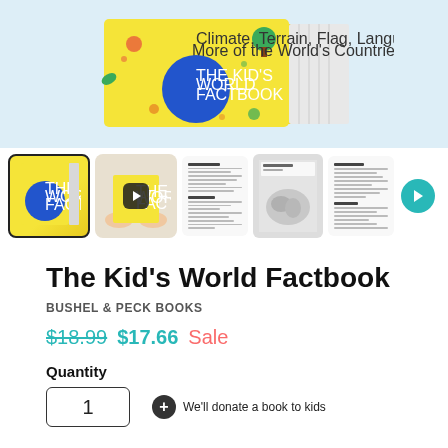[Figure (photo): Top portion of The Kid's World Factbook book shown from above against a light blue background, with yellow cover visible and text about Climate, Terrain, Flag, Language, and More of the World's Countries]
[Figure (photo): Row of thumbnail images of The Kid's World Factbook: selected front cover, hands holding book with play button, interior text pages, map page, and another text page with next arrow button]
The Kid's World Factbook
BUSHEL & PECK BOOKS
$18.99 $17.66 Sale
Quantity
1
We'll donate a book to kids